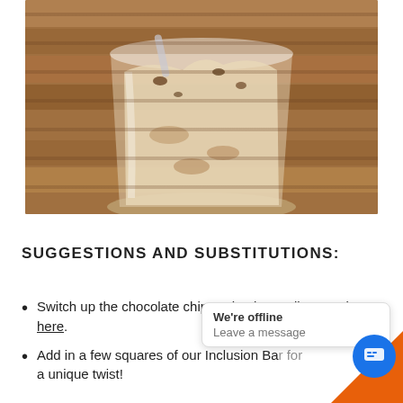[Figure (photo): Close-up photo of a clear plastic cup containing a creamy dessert with chocolate chips and mix-ins, placed on a wooden surface.]
SUGGESTIONS AND SUBSTITUTIONS:
Switch up the chocolate chips! Check out all our options here.
Add in a few squares of our Inclusion Bar for a unique twist!